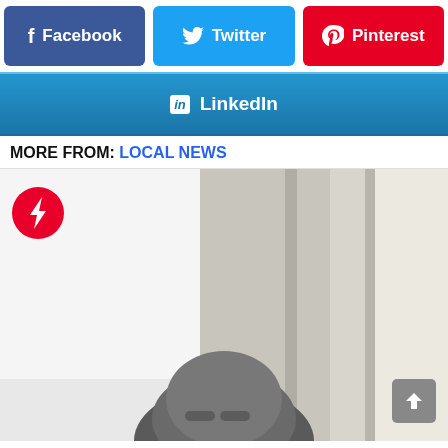[Figure (infographic): Social share buttons row: Facebook (purple-blue), Twitter (blue), Pinterest (red)]
[Figure (infographic): LinkedIn share button (gradient blue)]
MORE FROM: LOCAL NEWS
[Figure (photo): A person photographed from above, partially visible, with a BuzzFeed trending badge in top-left and a scroll-to-top button in bottom-right]